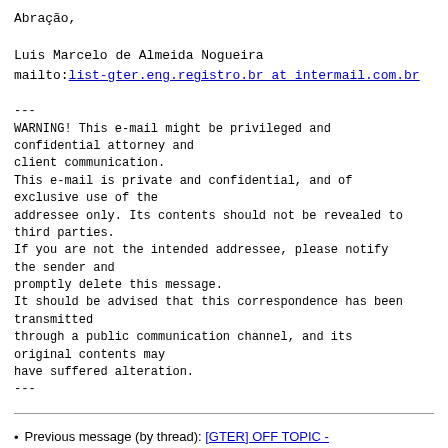Abração,
Luis Marcelo de Almeida Nogueira
mailto:list-gter.eng.registro.br at intermail.com.br
---
WARNING! This e-mail might be privileged and confidential attorney and
client communication.
This e-mail is private and confidential, and of exclusive use of the
addressee only. Its contents should not be revealed to third parties.
If you are not the intended addressee, please notify the sender and
promptly delete this message.
It should be advised that this correspondence has been transmitted
through a public communication channel, and its original contents may
have suffered alteration.
---
Previous message (by thread): [GTER] OFF TOPIC - Congresso INTERNACIONAL de Software Livre na USP